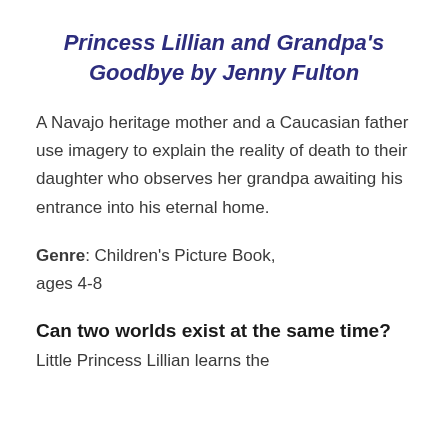Princess Lillian and Grandpa's Goodbye by Jenny Fulton
A Navajo heritage mother and a Caucasian father use imagery to explain the reality of death to their daughter who observes her grandpa awaiting his entrance into his eternal home.
Genre: Children's Picture Book, ages 4-8
Can two worlds exist at the same time?
Little Princess Lillian learns the